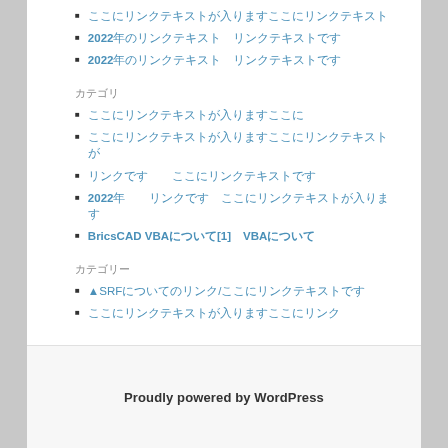ここにリンクテキストが入りますここにリンクテキスト
2022年のリンクテキスト　リンクテキストです
2022年のリンクテキスト　リンクテキストです
カテゴリ
ここにリンクテキストが入りますここに
ここにリンクテキストが入りますここにリンクテキストが
リンクです　　ここにリンクテキストです
2022年　　リンクです　ここにリンクテキストが入ります
BricsCAD VBAについて[1]　VBAについて
カテゴリー
▲SRFについてのリンク/ここにリンクテキストです
ここにリンクテキストが入りますここにリンク
Proudly powered by WordPress